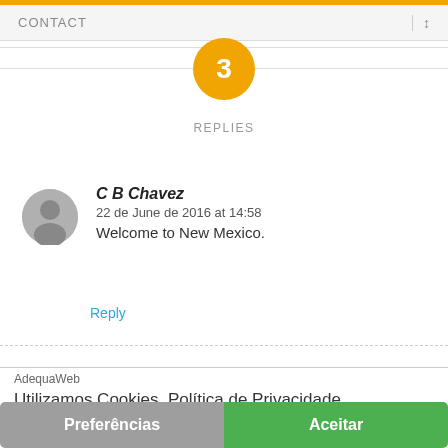CONTACT
3
REPLIES
C B Chavez
22 de June de 2016 at 14:58
Welcome to New Mexico.
Reply
AdequaWeb
Utilizamos Cookies. Política de Privacidade.
Preferências
Aceitar